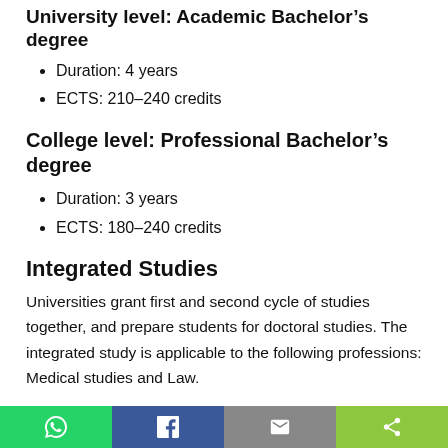University level: Academic Bachelor’s degree
Duration: 4 years
ECTS: 210–240 credits
College level: Professional Bachelor’s degree
Duration: 3 years
ECTS: 180–240 credits
Integrated Studies
Universities grant first and second cycle of studies together, and prepare students for doctoral studies. The integrated study is applicable to the following professions: Medical studies and Law.